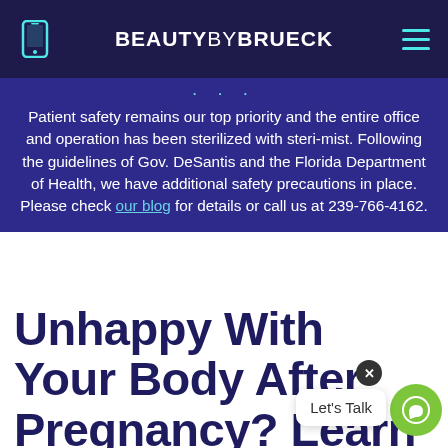BEAUTYBYBRUECK
Patient safety remains our top priority and the entire office and operation has been sterilized with steri-mist. Following the guidelines of Gov. DeSantis and the Florida Department of Health, we have additional safety precautions in place. Please check our blog for details or call us at 239-766-4162.
Unhappy With Your Body After Pregnancy? Learn More About Mom Makeovers